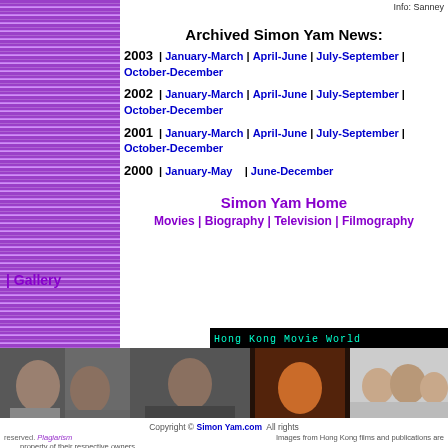Info: Sanney
Archived Simon Yam News:
2003 | January-March | April-June | July-September | October-December
2002 | January-March | April-June | July-September | October-December
2001 | January-March | April-June | July-September | October-December
2000 | January-May | June-December
Simon Yam Home
Movies | Biography | Television | Filmography | Gallery
[Figure (photo): Bottom banner with Hong Kong Movie World logo and four movie/celebrity photos]
Copyright © SimonYam.com All rights reserved. Plagiarism… Images from Hong Kong films and publications are property of their respective owners.